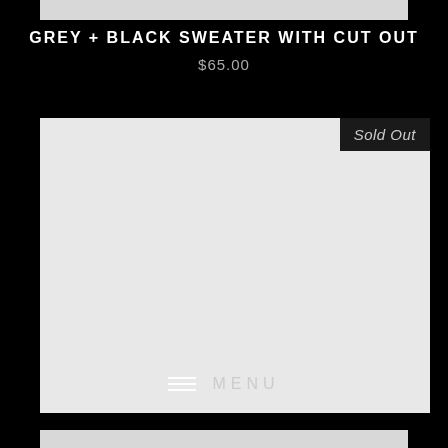[Figure (other): Top grey navigation bar placeholder]
GREY + BLACK SWEATER WITH CUT OUT
$65.00
[Figure (photo): Product image area showing a grey/light background placeholder for the sweater photo, with a Sold Out badge in the top right corner]
MENU
[Figure (other): Bottom grey navigation bar placeholder]